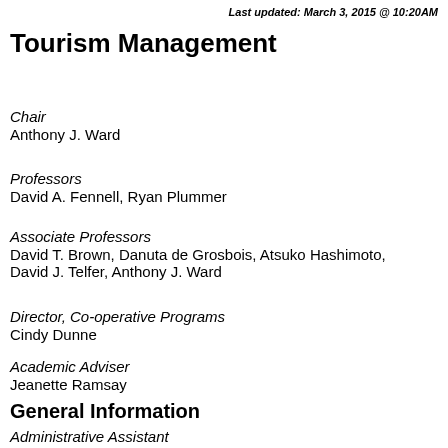Last updated: March 3, 2015 @ 10:20AM
Tourism Management
Chair
Anthony J. Ward
Professors
David A. Fennell, Ryan Plummer
Associate Professors
David T. Brown, Danuta de Grosbois, Atsuko Hashimoto, David J. Telfer, Anthony J. Ward
Director, Co-operative Programs
Cindy Dunne
Academic Adviser
Jeanette Ramsay
General Information
Administrative Assistant
Barb Alexander